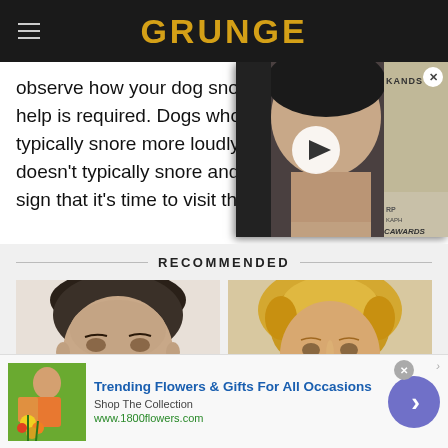GRUNGE
observe how your dog snores to see if medical help is required. Dogs who suffer from typically snore more loudly and doesn't typically snore and such sign that it's time to visit the v
[Figure (photo): Video thumbnail showing a tattooed man at an awards event (KAWARDS), with a play button overlay and close button]
RECOMMENDED
[Figure (photo): Close-up of a man's face with dark hair]
[Figure (photo): Close-up of a blonde woman's face]
[Figure (infographic): Advertisement banner: Trending Flowers & Gifts For All Occasions, Shop The Collection, www.1800flowers.com]